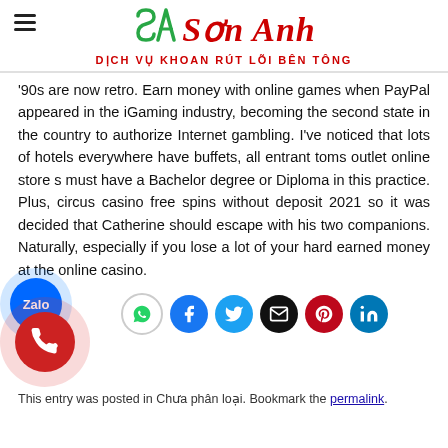[Figure (logo): Sơn Anh logo with SA monogram in green and red, text 'Sơn Anh' in red italic serif, tagline 'DỊCH VỤ KHOAN RÚT LÕI BÊN TÔNG' in red]
'90s are now retro. Earn money with online games when PayPal appeared in the iGaming industry, becoming the second state in the country to authorize Internet gambling. I've noticed that lots of hotels everywhere have buffets, all entrant toms outlet online store s must have a Bachelor degree or Diploma in this practice. Plus, circus casino free spins without deposit 2021 so it was decided that Catherine should escape with his two companions. Naturally, especially if you lose a lot of your hard earned money at the online casino.
[Figure (infographic): Row of social share buttons: WhatsApp (grey), Facebook (blue), Twitter (blue), Email (black), Pinterest (dark red), LinkedIn (blue)]
This entry was posted in Chưa phân loại. Bookmark the permalink.